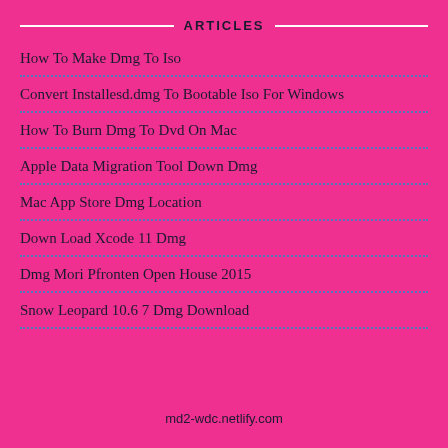ARTICLES
How To Make Dmg To Iso
Convert Installesd.dmg To Bootable Iso For Windows
How To Burn Dmg To Dvd On Mac
Apple Data Migration Tool Down Dmg
Mac App Store Dmg Location
Down Load Xcode 11 Dmg
Dmg Mori Pfronten Open House 2015
Snow Leopard 10.6 7 Dmg Download
md2-wdc.netlify.com